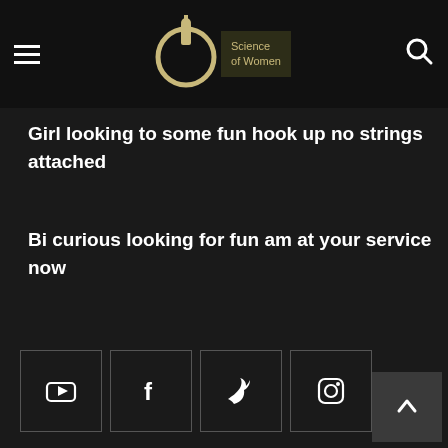[Figure (logo): Science of Women logo with circular icon and text]
Girl looking to some fun hook up no strings attached
Bi curious looking for fun am at your service now
[Figure (infographic): Social media icons row: YouTube, Facebook, Twitter, Instagram]
© All Rights Reserved - scieng-women-ontario.ca, 2022.